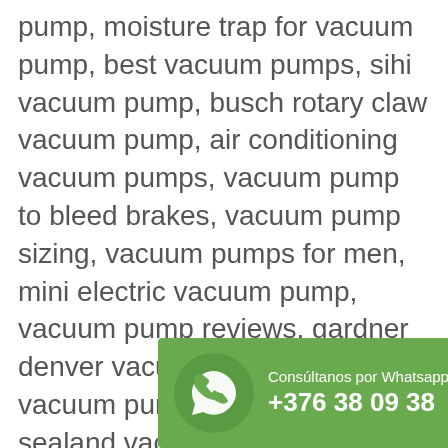pump, moisture trap for vacuum pump, best vacuum pumps, sihi vacuum pump, busch rotary claw vacuum pump, air conditioning vacuum pumps, vacuum pump to bleed brakes, vacuum pump sizing, vacuum pumps for men, mini electric vacuum pump, vacuum pump reviews, gardner denver vacuum pumps, industrial vacuum pumps manufacturers, sealand vacuum pump, edwards two stage vacuum pump, pierburg vacuum pump, bho vacuum purge kit with electric vacuum pump, automotive vacuum pumps, vacuum pump exhaust muffler, vacuum pump spares, api 681 liquid ring vacuum pump, industrial vacuum pump rental, conde vacuum pumps, eyela aspirator vacuum pump, vacuum pulse fuel pump, harvest right vacuum pump oil filter, prostate cancer vacuum pump, vac... eliminator, cool te... purpose of a vacu... pump, vacuum pump smoke eliminator, mobil vacuum pump oil, best vacuum
[Figure (infographic): WhatsApp contact banner with phone icon and text: Consúltanos por Whatsapp +376 38 09 38]